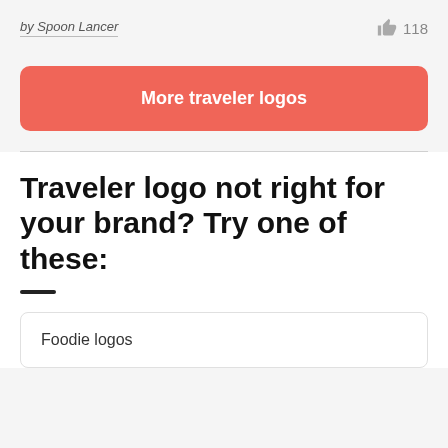by Spoon Lancer
118
More traveler logos
Traveler logo not right for your brand? Try one of these:
Foodie logos